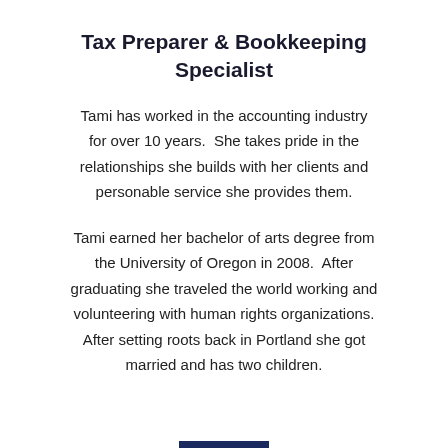Tax Preparer & Bookkeeping Specialist
Tami has worked in the accounting industry for over 10 years.  She takes pride in the relationships she builds with her clients and personable service she provides them.
Tami earned her bachelor of arts degree from the University of Oregon in 2008.  After graduating she traveled the world working and volunteering with human rights organizations.  After setting roots back in Portland she got married and has two children.